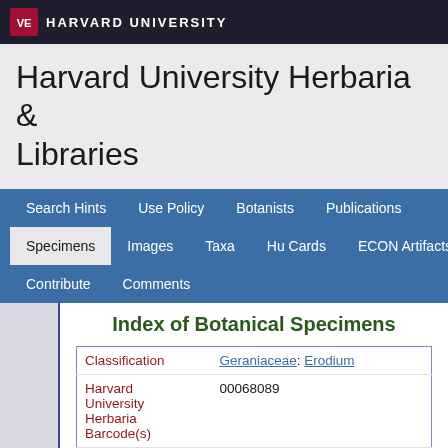HARVARD UNIVERSITY
Harvard University Herbaria & Libraries
Search Hints  Use Policy  Botanists  Publications  Specimens  Images  Taxa  Hu Cards  ECON Artifacts  Contribute  Comments
Index of Botanical Specimens
| Field | Value |
| --- | --- |
| Classification | Geraniaceae: Erodium |
| Harvard University Herbaria Barcode(s) | 00068089 |
| Collector | M. E. Gutterson |
| Collector number | 2 |
| Country | United States of America |
| State | Massachusetts |